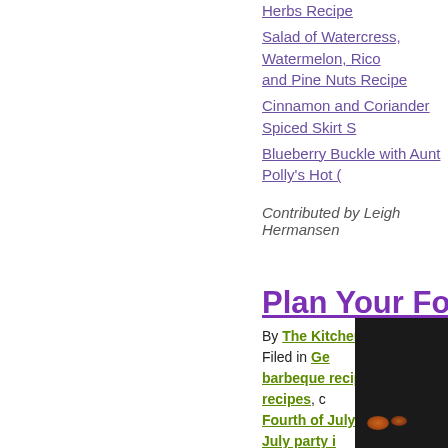Salad of Heirloom Tomatoes, Corn, [cut off] Herbs Recipe
Salad of Watercress, Watermelon, Rico[cut off] and Pine Nuts Recipe
Cinnamon and Coriander Spiced Skirt S[cut off]
Blueberry Buckle with Aunt Polly's Hot [cut off]
Contributed by Leigh Hermansen
Plan Your Fourth of J[cut off]
By The Kitchen Whisperer Filed in Ge[cut off] barbeque recipes, burger recipes, c[cut off] Fourth of July, Fourth of July party i[cut off] party ideas June 11th, 2009 @ 4:00 p[cut off]
[Figure (photo): Dark background photo with orange glowing embers or lights, partially cropped at right edge and bottom of page]